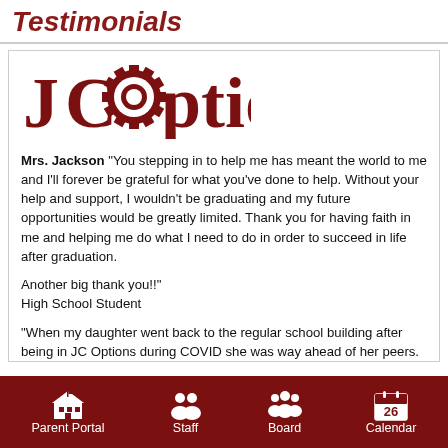Testimonials
[Figure (logo): JCOptions logo with gear replacing the letter O]
Mrs. Jackson "You stepping in to help me has meant the world to me and I'll forever be grateful for what you've done to help. Without your help and support, I wouldn't be graduating and my future opportunities would be greatly limited. Thank you for having faith in me and helping me do what I need to do in order to succeed in life after graduation.
Another big thank you!!
High School Student
"When my daughter went back to the regular school building after being in JC Options during COVID she was way ahead of her peers. I'm thankful she was able to be part of a robust learning program and keep learning."
Parent Portal   Staff   Board   Calendar